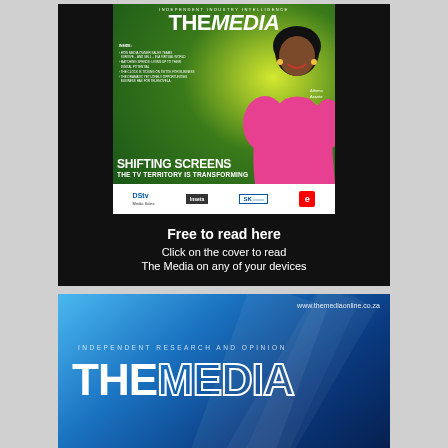[Figure (illustration): Advertisement showing The Media magazine cover with 'Shifting Screens – The TV Territory is Transforming' headline, woman in pink dress on green background, sponsor logos (DStv Media Sales, Inseta, SK, eTV), with call-to-action text 'Free to read here / Click on the cover to read The Media on any of your devices']
Free to read here
Click on the cover to read The Media on any of your devices
[Figure (illustration): The Media Online banner advertisement with blue gradient background, www.themediaonline.co.za URL, 'Independent Research and Opinion' tagline, and The Media logo in white outline text]